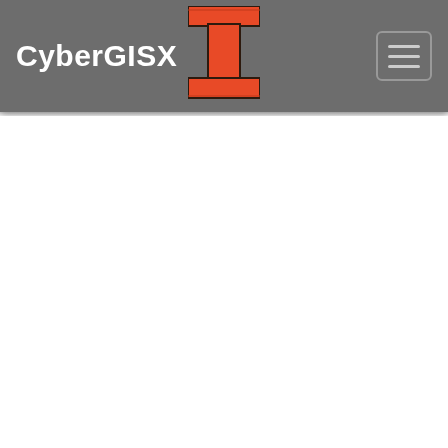CyberGISX
[Figure (logo): University of Illinois Block I logo in orange and dark outline, centered in the navigation bar]
[Figure (other): Hamburger menu button with three horizontal lines, top right of navigation bar]